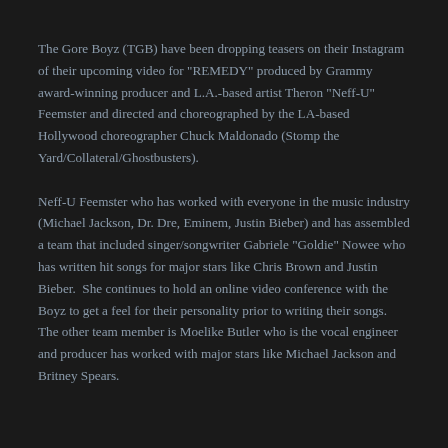The Gore Boyz (TGB) have been dropping teasers on their Instagram of their upcoming video for "REMEDY" produced by Grammy award-winning producer and L.A.-based artist Theron "Neff-U" Feemster and directed and choreographed by the LA-based Hollywood choreographer Chuck Maldonado (Stomp the Yard/Collateral/Ghostbusters).
Neff-U Feemster who has worked with everyone in the music industry (Michael Jackson, Dr. Dre, Eminem, Justin Bieber) and has assembled a team that included singer/songwriter Gabriele "Goldie" Nowee who has written hit songs for major stars like Chris Brown and Justin Bieber.  She continues to hold an online video conference with the Boyz to get a feel for their personality prior to writing their songs. The other team member is Moelike Butler who is the vocal engineer and producer has worked with major stars like Michael Jackson and Britney Spears.